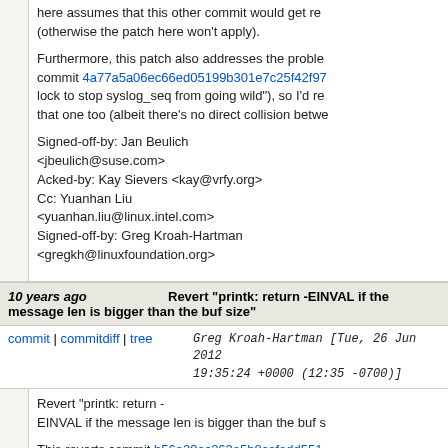here assumes that this other commit would get re (otherwise the patch here won't apply).
Furthermore, this patch also addresses the proble commit 4a77a5a06ec66ed05199b301e7c25f42f97 lock to stop syslog_seq from going wild"), so I'd re that one too (albeit there's no direct collision betwe
Signed-off-by: Jan Beulich <jbeulich@suse.com>
Acked-by: Kay Sievers <kay@vrfy.org>
Cc: Yuanhan Liu <yuanhan.liu@linux.intel.com>
Signed-off-by: Greg Kroah-Hartman <gregkh@linuxfoundation.org>
10 years ago   Revert "printk: return -EINVAL if the message len is bigger than the buf size"
commit | commitdiff | tree   Greg Kroah-Hartman [Tue, 26 Jun 2012 19:35:24 +0000 (12:35 -0700)]
Revert "printk: return -
EINVAL if the message len is bigger than the buf s
This reverts commit b56a39ac263e5b8cafedd551
A better patch from Jan will follow this to resolve th
Acked-by: Kay Sievers <kay@vrfy.org>
Cc: Fengguang Wu <wfg@linux.intel.com>